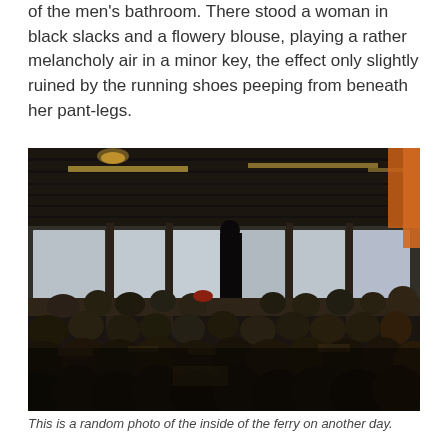of the men's bathroom. There stood a woman in black slacks and a flowery blouse, playing a rather melancholy air in a minor key, the effect only slightly ruined by the running shoes peeping from beneath her pant-legs.
[Figure (photo): Dark interior photo of a crowded ferry passenger lounge. Many passengers are seated at tables. Large windows line the walls showing water outside. The ceiling has dark paneling with strip lighting. A figure in dark clothing stands silhouetted near the windows.]
This is a random photo of the inside of the ferry on another day.